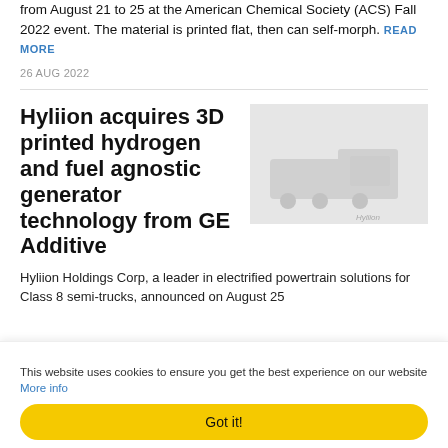from August 21 to 25 at the American Chemical Society (ACS) Fall 2022 event. The material is printed flat, then can self-morph. READ MORE
26 AUG 2022
Hyliion acquires 3D printed hydrogen and fuel agnostic generator technology from GE Additive
[Figure (photo): Gray placeholder image with faint Hyliion logo watermark]
Hyliion Holdings Corp, a leader in electrified powertrain solutions for Class 8 semi-trucks, announced on August 25
This website uses cookies to ensure you get the best experience on our website More info
Got it!